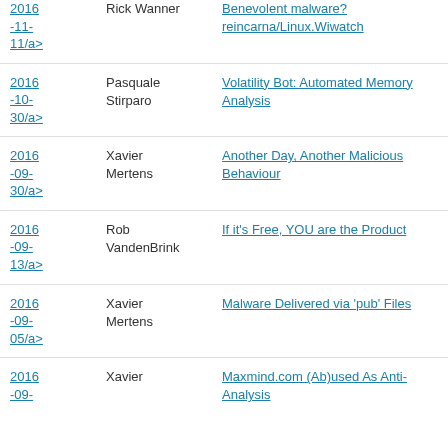| Date | Author | Title |
| --- | --- | --- |
| 2016-11-11/a> | Rick Wanner | Benevolent malware? reincarna/Linux.Wiwatch |
| 2016-10-30/a> | Pasquale Stirparo | Volatility Bot: Automated Memory Analysis |
| 2016-09-30/a> | Xavier Mertens | Another Day, Another Malicious Behaviour |
| 2016-09-13/a> | Rob VandenBrink | If it's Free, YOU are the Product |
| 2016-09-05/a> | Xavier Mertens | Malware Delivered via 'pub' Files |
| 2016-09-... | Xavier | Maxmind.com (Ab)used As Anti-Analysis |